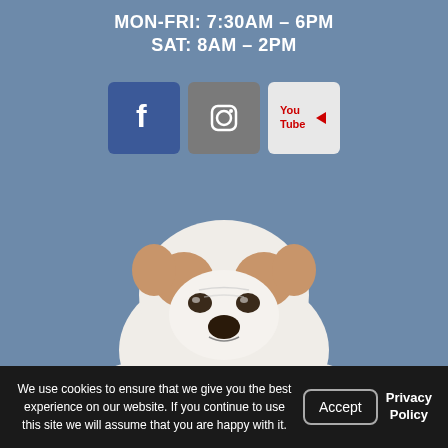MON-FRI: 7:30AM – 6PM
SAT: 8AM – 2PM
[Figure (illustration): Social media icons: Facebook (blue), Instagram (gray), YouTube (red/white)]
[Figure (illustration): English Bulldog puppy lying with paws over a dark ribbon banner, above a scroll that reads 'Click Here to See Our Rave Reviews!' with five red heart icons]
We use cookies to ensure that we give you the best experience on our website. If you continue to use this site we will assume that you are happy with it.
Accept
Privacy Policy